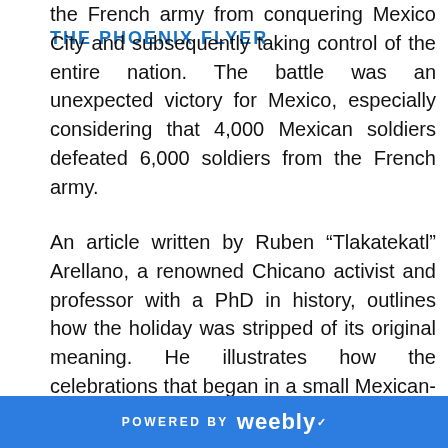THE PHOENIX FLYER
the French army from conquering Mexico City and subsequently taking control of the entire nation. The battle was an unexpected victory for Mexico, especially considering that 4,000 Mexican soldiers defeated 6,000 soldiers from the French army.
An article written by Ruben “Tlakatekatl” Arellano, a renowned Chicano activist and professor with a PhD in history, outlines how the holiday was stripped of its original meaning. He illustrates how the celebrations that began in a small Mexican-American community in California blossomed into a large-scale holiday popular in the 1960s during the Chicano movement as a way to celebrate Mexican pride. It was only in the 1980s that companies, especially brewing companies,
POWERED BY weebly